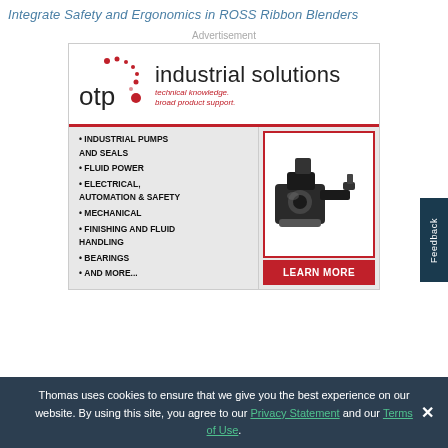Integrate Safety and Ergonomics in ROSS Ribbon Blenders
Advertisement
[Figure (logo): OTP Industrial Solutions logo with dots motif, tagline: technical knowledge. broad product support.]
INDUSTRIAL PUMPS AND SEALS
FLUID POWER
ELECTRICAL, AUTOMATION & SAFETY
MECHANICAL
FINISHING AND FLUID HANDLING
BEARINGS
AND MORE...
[Figure (photo): Industrial pump or valve component, black metal, photographed on white background]
LEARN MORE
Thomas uses cookies to ensure that we give you the best experience on our website. By using this site, you agree to our Privacy Statement and our Terms of Use.